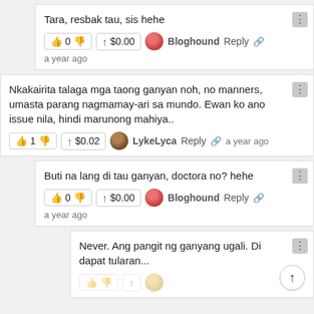Tara, resbak tau, sis hehe
👍 0 👎  ↑ $0.00  Bloghound  Reply  🔗
a year ago
Nkakairita talaga mga taong ganyan noh, no manners, umasta parang nagmamay-ari sa mundo. Ewan ko ano issue nila, hindi marunong mahiya..
👍 1 👎  ↑ $0.02  LykeLyca  Reply  🔗  a year ago
Buti na lang di tau ganyan, doctora no? hehe
👍 0 👎  ↑ $0.00  Bloghound  Reply  🔗
a year ago
Never. Ang pangit ng ganyang ugali. Di dapat tularan...